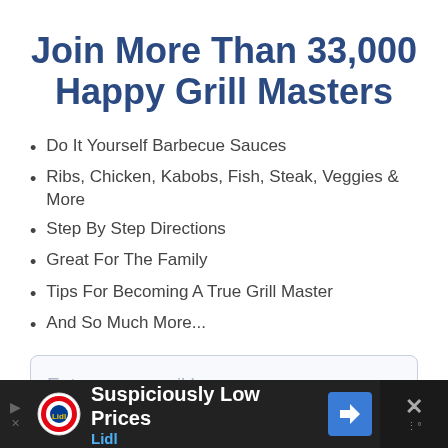Join More Than 33,000 Happy Grill Masters
Do It Yourself Barbecue Sauces
Ribs, Chicken, Kabobs, Fish, Steak, Veggies & More
Step By Step Directions
Great For The Family
Tips For Becoming A True Grill Master
And So Much More...
Enter your email here...
[Figure (screenshot): Advertisement banner for Lidl with text 'Suspiciously Low Prices' and 'Lidl' subtitle on dark background]